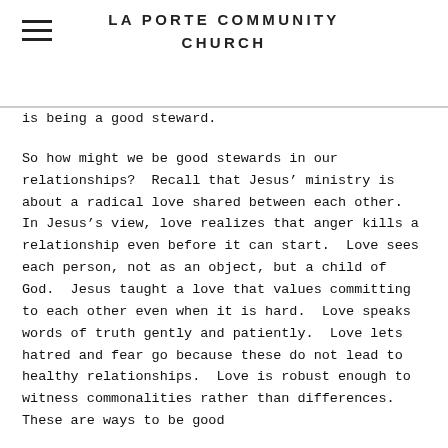LA PORTE COMMUNITY CHURCH
is being a good steward.
So how might we be good stewards in our relationships?  Recall that Jesus’ ministry is about a radical love shared between each other.  In Jesus’s view, love realizes that anger kills a relationship even before it can start.  Love sees each person, not as an object, but a child of God.  Jesus taught a love that values committing to each other even when it is hard.  Love speaks words of truth gently and patiently.  Love lets hatred and fear go because these do not lead to healthy relationships.  Love is robust enough to witness commonalities rather than differences.  These are ways to be good stewards of our relationships.